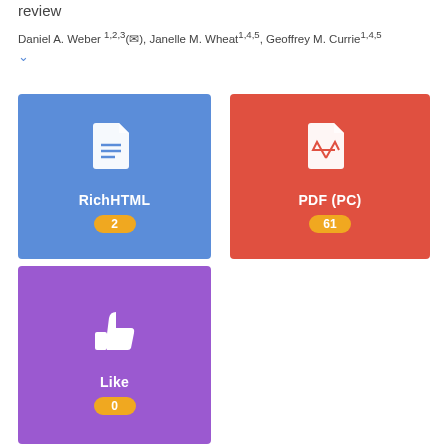review
Daniel A. Weber 1,2,3(✉), Janelle M. Wheat1,4,5, Geoffrey M. Currie1,4,5
[Figure (infographic): Blue card with document/RichHTML icon, label 'RichHTML', badge showing count 2]
[Figure (infographic): Red card with PDF icon, label 'PDF (PC)', badge showing count 61]
[Figure (infographic): Purple card with thumbs-up/Like icon, label 'Like', badge showing count 0]